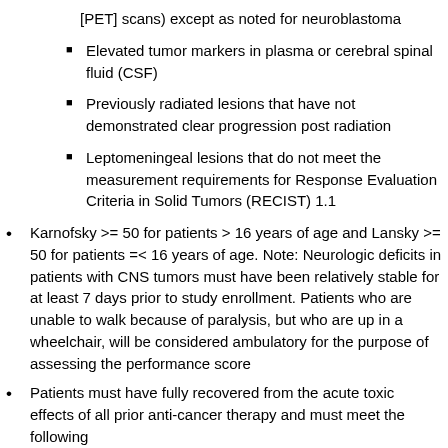[PET] scans) except as noted for neuroblastoma
Elevated tumor markers in plasma or cerebral spinal fluid (CSF)
Previously radiated lesions that have not demonstrated clear progression post radiation
Leptomeningeal lesions that do not meet the measurement requirements for Response Evaluation Criteria in Solid Tumors (RECIST) 1.1
Karnofsky >= 50 for patients > 16 years of age and Lansky >= 50 for patients =< 16 years of age. Note: Neurologic deficits in patients with CNS tumors must have been relatively stable for at least 7 days prior to study enrollment. Patients who are unable to walk because of paralysis, but who are up in a wheelchair, will be considered ambulatory for the purpose of assessing the performance score
Patients must have fully recovered from the acute toxic effects of all prior anti-cancer therapy and must meet the following